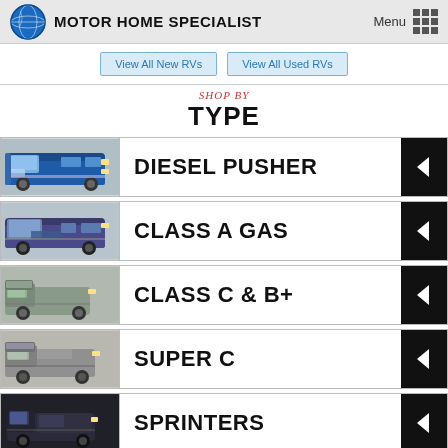MOTOR HOME SPECIALIST
View All New RVs | View All Used RVs
SHOP BY TYPE
DIESEL PUSHER
CLASS A GAS
CLASS C & B+
SUPER C
SPRINTERS
CLASS B VAN